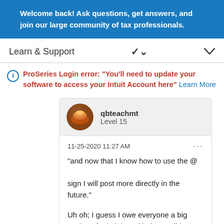Welcome back! Ask questions, get answers, and join our large community of tax professionals.
Learn & Support
ProSeries Login error: "You'll need to update your software to access your Intuit Account here" Learn More
qbteachmt
Level 15
11-25-2020 11:27 AM
"and now that I know how to use the @ sign I will post more directly in the future."
Uh oh; I guess I owe everyone a big apology for helping with that...I didn't